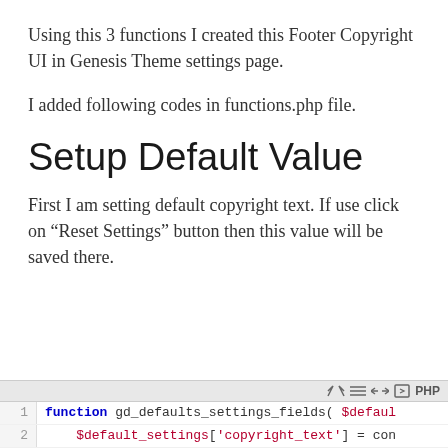Using this 3 functions I created this Footer Copyright UI in Genesis Theme settings page.
I added following codes in functions.php file.
Setup Default Value
First I am setting default copyright text. If use click on “Reset Settings” button then this value will be saved there.
[Figure (screenshot): PHP code block showing function gd_defaults_settings_fields( $default... with line numbers 1 and 2 visible, with syntax highlighting in a code editor widget with toolbar icons.]